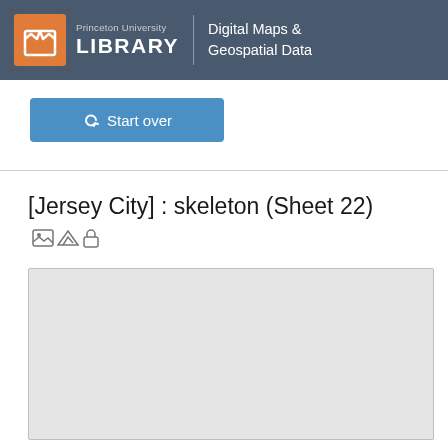Princeton University LIBRARY | Digital Maps & Geospatial Data
↺ Start over
[Jersey City] : skeleton (Sheet 22)
[Figure (other): Light gray preview box for map content]